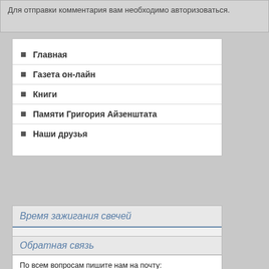Для отправки комментария вам необходимо авторизоваться.
Главная
Газета он-лайн
Книги
Памяти Григория Айзенштата
Наши друзья
Время зажигания свечей
Обратная связь
По всем вопросам пишите нам на почту: lebn.konotop@gmail.com или заполните форму обратной связи ниже:
Имя: *
Email адрес: *